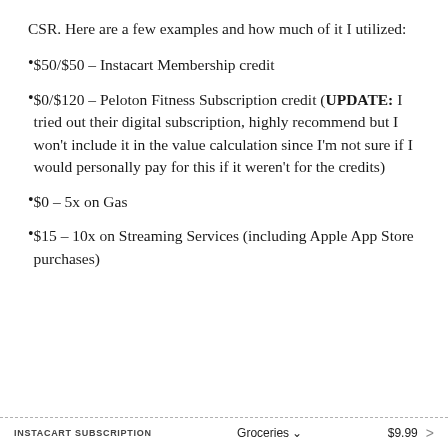CSR. Here are a few examples and how much of it I utilized:
$50/$50 – Instacart Membership credit
$0/$120 – Peloton Fitness Subscription credit (UPDATE: I tried out their digital subscription, highly recommend but I won't include it in the value calculation since I'm not sure if I would personally pay for this if it weren't for the credits)
$0 – 5x on Gas
$15 – 10x on Streaming Services (including Apple App Store purchases)
INSTACART SUBSCRIPTION   Groceries ∨   $9.99   >